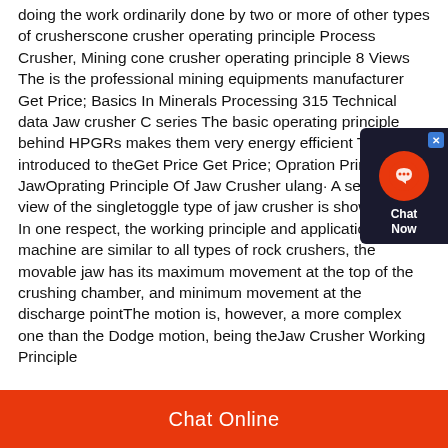doing the work ordinarily done by two or more of other types of crusherscone crusher operating principle Process Crusher, Mining cone crusher operating principle 8 Views The is the professional mining equipments manufacturer Get Price; Basics In Minerals Processing 315 Technical data Jaw crusher C series The basic operating principle behind HPGRs makes them very energy efficient The f is introduced to theGet Price Get Price; Opration Princi Of JawOprating Principle Of Jaw Crusher ulang· A sectional view of the singletoggle type of jaw crusher is shown below In one respect, the working principle and application of this machine are similar to all types of rock crushers, the movable jaw has its maximum movement at the top of the crushing chamber, and minimum movement at the discharge pointThe motion is, however, a more complex one than the Dodge motion, being theJaw Crusher Working Principle
[Figure (other): Chat support widget with orange circular icon containing a headset symbol, dark background panel, close button, and 'Chat Now' text]
Chat Online